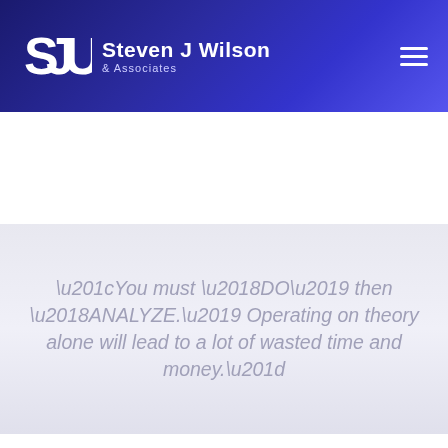Steven J Wilson & Associates
“You must ‘DO’ then ‘ANALYZE.’ Operating on theory alone will lead to a lot of wasted time and money.”
We use cookies on our website to give you the most relevant experience by remembering your preferences and repeat visits. By clicking “Accept All”, you consent to the use of ALL the cookies. However, you may visit "Cookie Settings" to provide a controlled consent.
Cookie Settings | Accept All